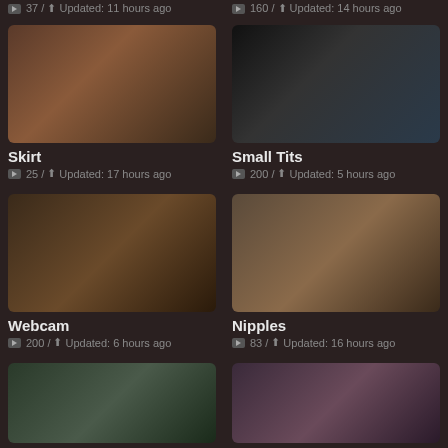▶ 37 / ⬆ Updated: 11 hours ago
▶ 160 / ⬆ Updated: 14 hours ago
[Figure (photo): Thumbnail image for Skirt category]
[Figure (photo): Thumbnail image for Small Tits category]
Skirt
▶ 25 / ⬆ Updated: 17 hours ago
Small Tits
▶ 200 / ⬆ Updated: 5 hours ago
[Figure (photo): Thumbnail image for Webcam category]
[Figure (photo): Thumbnail image for Nipples category]
Webcam
▶ 200 / ⬆ Updated: 6 hours ago
Nipples
▶ 83 / ⬆ Updated: 16 hours ago
[Figure (photo): Thumbnail image bottom left]
[Figure (photo): Thumbnail image bottom right]